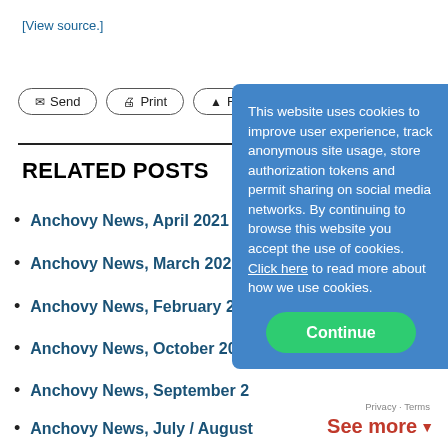[View source.]
✉ Send  🖨 Print  ▲ R
RELATED POSTS
Anchovy News, April 2021
Anchovy News, March 2021
Anchovy News, February 202
Anchovy News, October 202
Anchovy News, September 2
Anchovy News, July / August
This website uses cookies to improve user experience, track anonymous site usage, store authorization tokens and permit sharing on social media networks. By continuing to browse this website you accept the use of cookies. Click here to read more about how we use cookies.
Continue
Privacy · Terms
See more